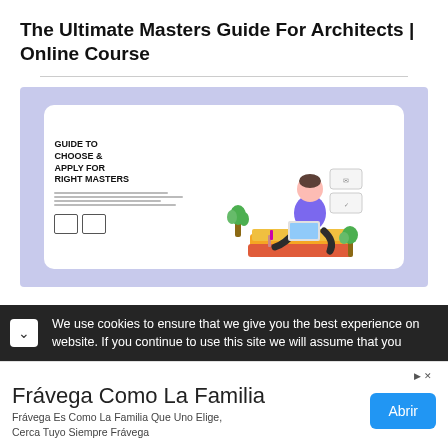The Ultimate Masters Guide For Architects | Online Course
[Figure (illustration): A guide brochure illustration showing a person sitting on a stack of books with a laptop, a plant nearby, and text reading 'GUIDE TO CHOOSE & APPLY FOR RIGHT MASTERS'. Small house icons at the bottom left. Background is light purple/lavender.]
We use cookies to ensure that we give you the best experience on website. If you continue to use this site we will assume that you
Frávega Como La Familia
Frávega Es Como La Familia Que Uno Elige, Cerca Tuyo Siempre Frávega